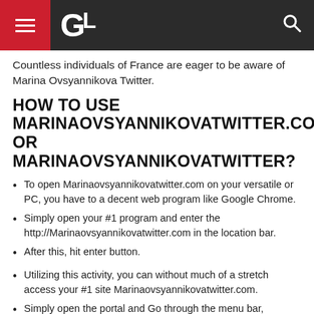GL (logo header with hamburger menu and search icon)
Countless individuals of France are eager to be aware of Marina Ovsyannikova Twitter.
HOW TO USE MARINAOVSYANNIKOVATWITTER.COM OR MARINAOVSYANNIKOVATWITTER?
To open Marinaovsyannikovatwitter.com on your versatile or PC, you have to a decent web program like Google Chrome.
Simply open your #1 program and enter the http://Marinaovsyannikovatwitter.com in the location bar.
After this, hit enter button.
Utilizing this activity, you can without much of a stretch access your #1 site Marinaovsyannikovatwitter.com.
Simply open the portal and Go through the menu bar, situated at the Marinaovsyannikovatwitter Top segment.